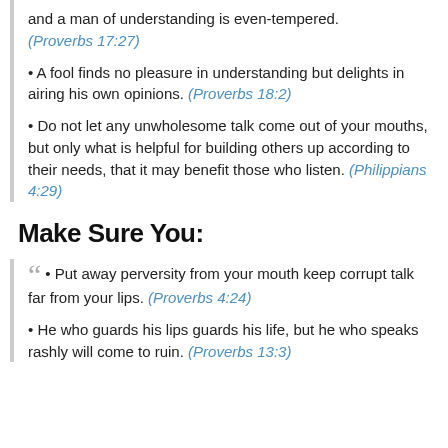and a man of understanding is even-tempered. (Proverbs 17:27)
• A fool finds no pleasure in understanding but delights in airing his own opinions. (Proverbs 18:2)
• Do not let any unwholesome talk come out of your mouths, but only what is helpful for building others up according to their needs, that it may benefit those who listen. (Philippians 4:29)
Make Sure You:
• Put away perversity from your mouth keep corrupt talk far from your lips. (Proverbs 4:24)
• He who guards his lips guards his life, but he who speaks rashly will come to ruin. (Proverbs 13:3)